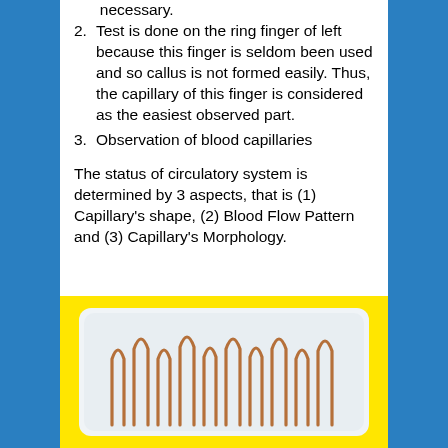necessary.
2. Test is done on the ring finger of left because this finger is seldom been used and so callus is not formed easily. Thus, the capillary of this finger is considered as the easiest observed part.
3. Observation of blood capillaries
The status of circulatory system is determined by 3 aspects, that is (1) Capillary’s shape, (2) Blood Flow Pattern and (3) Capillary’s Morphology.
[Figure (illustration): Illustration of blood capillaries showing U-shaped loop structures (hairpin loops) arranged side by side on a light blue-grey background inside a white rounded rectangle, set against a yellow border/background.]